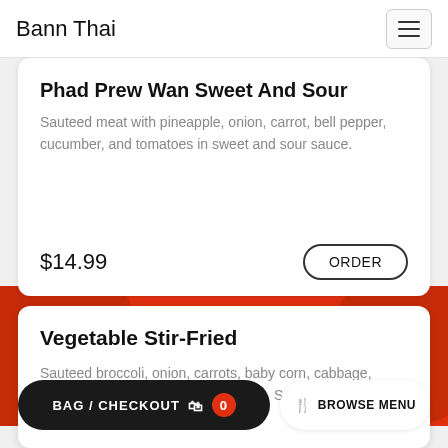Bann Thai
Phad Prew Wan Sweet And Sour
Sauteed meat with pineapple, onion, carrot, bell pepper, cucumber, and tomatoes in sweet and sour sauce.
$14.99
Vegetable Stir-Fried
Sauteed broccoli, onion, carrots, baby corn, cabbage, celery, and mushrooms in soy sauce. Served with steamed jasmine rice or brown rice.
BAG / CHECKOUT 0
BROWSE MENU